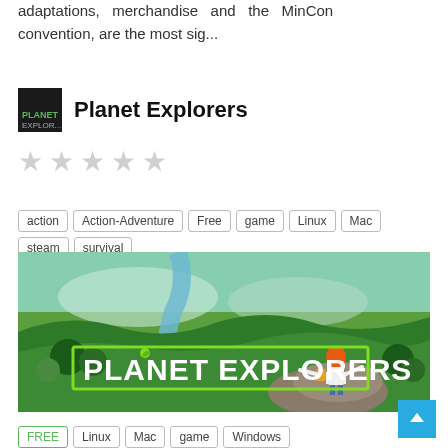adaptations, merchandise and the MinCon convention, are the most sig...
Planet Explorers
[Figure (other): Five grey star rating icons (unrated)]
action
Action-Adventure
Free
game
Linux
Mac
steam
survival
[Figure (illustration): Planet Explorers game promotional image showing a character with red hair standing on a cliff overlooking a lush green landscape with a river, with the text PLANET EXPLORERS displayed prominently in white and green.]
FREE
Linux
Mac
game
Windows